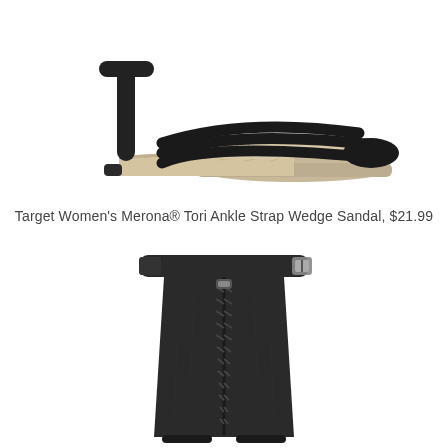[Figure (photo): Side view of a black strappy wedge sandal with ankle strap and cork-style wedge sole on white background.]
Target Women's Merona® Tori Ankle Strap Wedge Sandal, $21.99
[Figure (photo): Back view of a black ankle strap wedge sandal showing a back zipper and buckle strap detail on white background.]